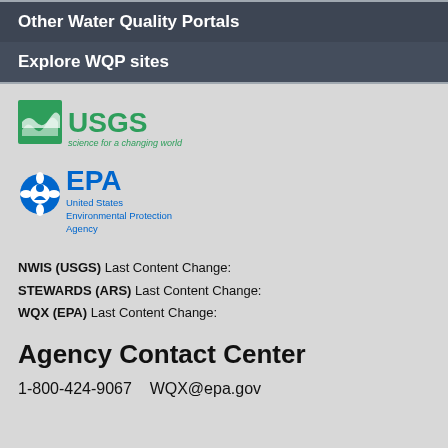Other Water Quality Portals
Explore WQP sites
[Figure (logo): USGS logo with text 'science for a changing world']
[Figure (logo): EPA logo with text 'United States Environmental Protection Agency']
NWIS (USGS) Last Content Change:
STEWARDS (ARS) Last Content Change:
WQX (EPA) Last Content Change:
Agency Contact Center
1-800-424-9067    WQX@epa.gov